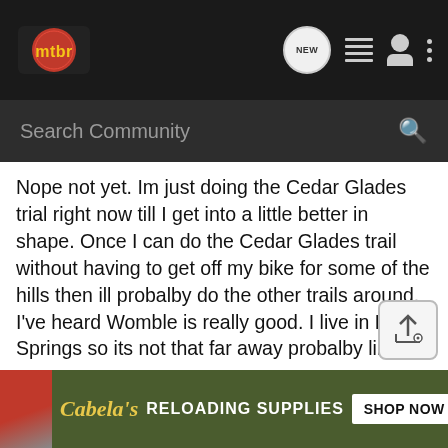mtbr navigation bar with logo, NEW message icon, list icon, user icon, and more icon
Search Community
Nope not yet. Im just doing the Cedar Glades trial right now till I get into a little better in shape. Once I can do the Cedar Glades trail without having to get off my bike for some of the hills then ill probalby do the other trails around. I've heard Womble is really good. I live in Hot Springs so its not that far away probalby like 15 miles or so. I also need to get a new bike, I went to the LBS here and seen a Raleigh hardtail bike for 245. I dont know what model it was or anything i just saw it while iw as walking out from getting a new rear axel for my good ol wally world bike lol. Something good to start off with.
Cabelas RELOADING SUPPLIES SHOP NOW